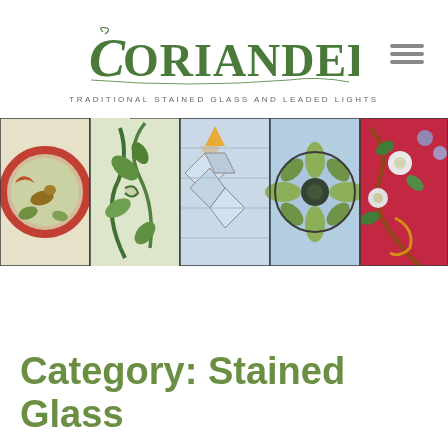[Figure (logo): Coriander logo with decorative script font in olive/dark green, tagline reads TRADITIONAL STAINED GLASS AND LEADED LIGHTS]
[Figure (photo): Horizontal banner strip showing five panels of stained glass artwork: a circular medallion with birds, decorative floral vine pattern, geometric chevron/diamond pattern in blue and orange, a floral cross motif on blue background, and colorful floral arrangement on red background]
Category: Stained Glass